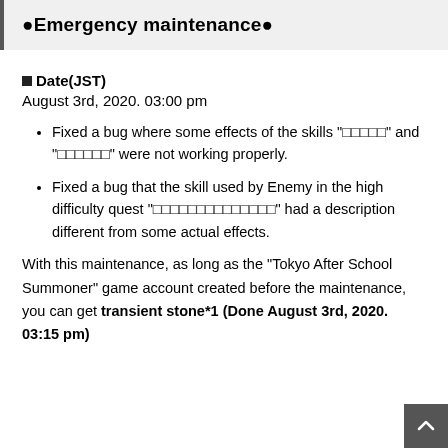●Emergency maintenance●
■Date(JST)
August 3rd, 2020. 03:00 pm
Fixed a bug where some effects of the skills "〇〇〇〇〇" and "〇〇〇〇〇〇" were not working properly.
Fixed a bug that the skill used by Enemy in the high difficulty quest "〇〇〇〇〇〇〇〇〇〇〇〇〇〇" had a description different from some actual effects.
With this maintenance, as long as the "Tokyo After School Summoner" game account created before the maintenance, you can get transient stone*1 (Done August 3rd, 2020. 03:15 pm)